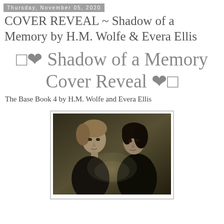Thursday, November 05, 2020
COVER REVEAL ~ Shadow of a Memory by H.M. Wolfe & Evera Ellis
🖤 Shadow of a Memory Cover Reveal 🖤
The Base Book 4 by H.M. Wolfe and Evera Ellis
[Figure (photo): Book cover photo showing two young men with dramatic lighting against a dark sepia-toned background for 'Shadow of a Memory']